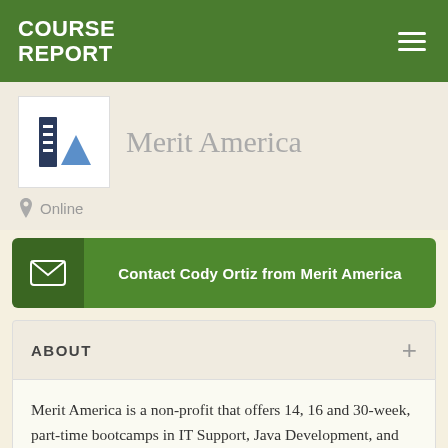COURSE REPORT
Merit America
Online
Contact Cody Ortiz from Merit America
ABOUT
Merit America is a non-profit that offers 14, 16 and 30-week, part-time bootcamps in IT Support, Java Development, and Data Analytics across the United States. Students